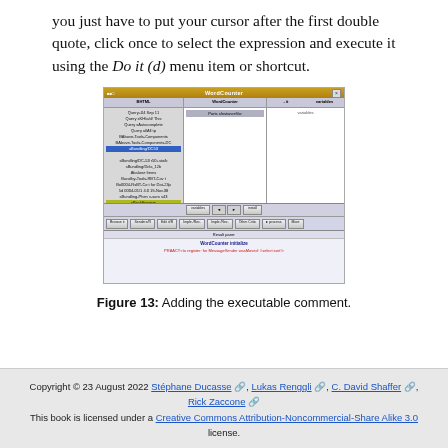you just have to put your cursor after the first double quote, click once to select the expression and execute it using the Do it (d) menu item or shortcut.
[Figure (screenshot): A screenshot of a Pharo/Smalltalk IDE window showing WordCounter code with a result pane displaying WordCounter initialize and a method for register: for MessageSender wasMoved:.]
Figure 13: Adding the executable comment.
Copyright © 23 August 2022 Stéphane Ducasse, Lukas Renggli, C. David Shaffer, Rick Zaccone. This book is licensed under a Creative Commons Attribution-Noncommercial-Share Alike 3.0 license.